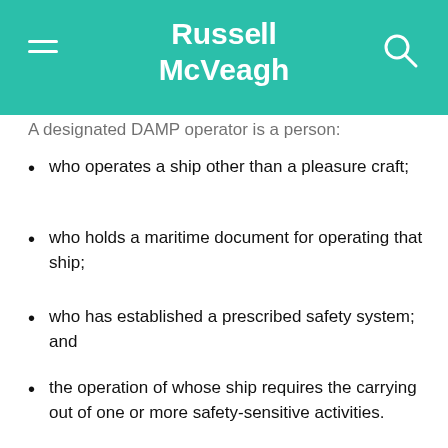Russell McVeagh
A designated DAMP operator is a person:
who operates a ship other than a pleasure craft;
who holds a maritime document for operating that ship;
who has established a prescribed safety system; and
the operation of whose ship requires the carrying out of one or more safety-sensitive activities.
The Act requires DAMP operators (and empowers the Director of Maritime New Zealand) to administer random drug and alcohol testing of those workers. The Act